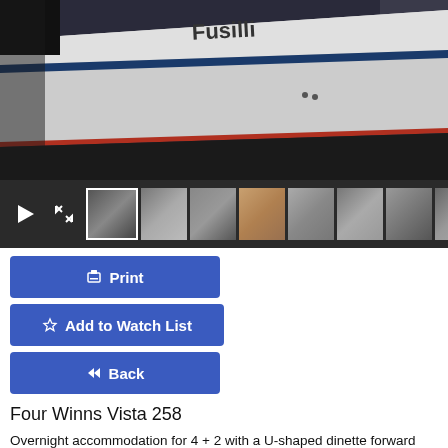[Figure (photo): Photograph of a Four Winns Vista 258 boat hull, showing the bow from below with white hull, red stripe, and dark underside. Storage facility background.]
[Figure (screenshot): Thumbnail navigation bar with play button, expand button, and 8 small photo thumbnails of the boat. First thumbnail is selected/active.]
Print
Add to Watch List
Back
Four Winns Vista 258
Overnight accommodation for 4 + 2 with a U-shaped dinette forward that easily converts into a double berth, and mid-cabin with a large double. The galley features a refrigerator, cooktop, microwave, sink, and good storage.
Accommodations:
The U-berth typically set up as seating with a removable wooden table set in the middle. There is storage below all three seat cushions.
The spacious stand-up head is to the left as you step down. It converts